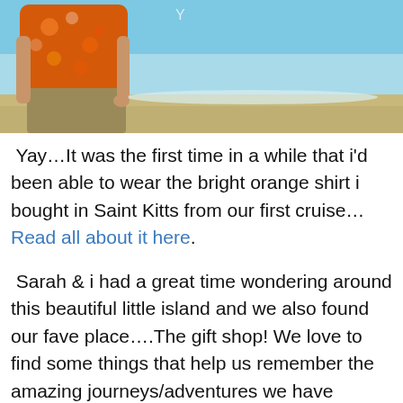[Figure (photo): Photo of a person wearing a bright orange floral shirt standing on a beach with blue ocean water and sandy shore in the background. Only the torso and lower body are visible.]
Yay…It was the first time in a while that i'd been able to wear the bright orange shirt i bought in Saint Kitts from our first cruise…Read all about it here.
Sarah & i had a great time wondering around this beautiful little island and we also found our fave place….The gift shop! We love to find some things that help us remember the amazing journeys/adventures we have conquered.